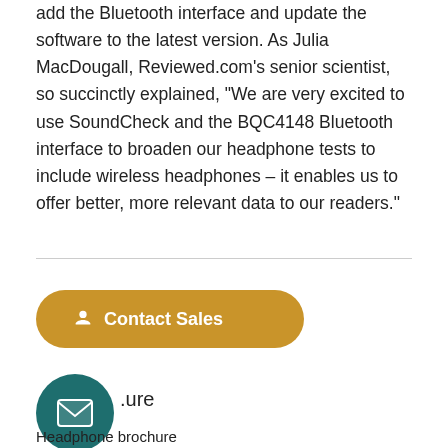add the Bluetooth interface and update the software to the latest version. As Julia MacDougall, Reviewed.com's senior scientist, so succinctly explained, “We are very excited to use SoundCheck and the BQC4148 Bluetooth interface to broaden our headphone tests to include wireless headphones – it enables us to offer better, more relevant data to our readers.”
[Figure (other): Golden pill-shaped Contact Sales button with person icon]
[Figure (other): Teal circular email icon button with envelope icon, followed by partial URL text '.ure']
Headphone brochure